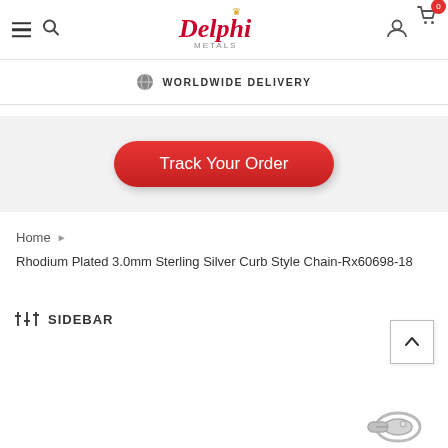Delphi Metals - navigation header with hamburger, search, logo, user and cart icons
WORLDWIDE DELIVERY
Track Your Order
Home
Rhodium Plated 3.0mm Sterling Silver Curb Style Chain-Rx60698-18
SIDEBAR
[Figure (photo): Partial view of a silver chain clasp in the bottom right corner]